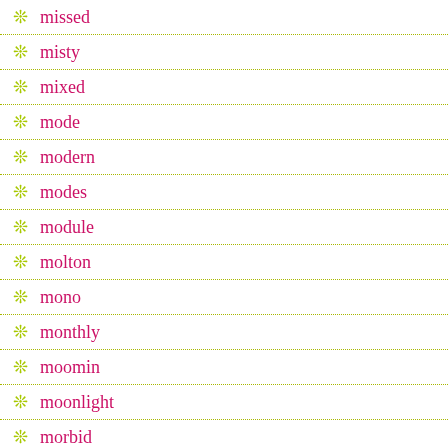missed
misty
mixed
mode
modern
modes
module
molton
mono
monthly
moomin
moonlight
morbid
morris